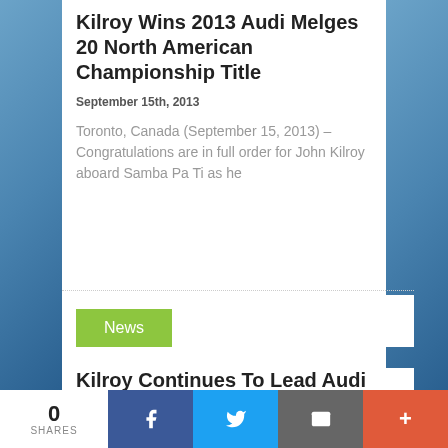Kilroy Wins 2013 Audi Melges 20 North American Championship Title
September 15th, 2013
Toronto, Canada (September 15, 2013) – Congratulations are in full order for John Kilroy aboard Samba Pa Ti as he
News
Kilroy Continues To Lead Audi Melges 20 North
0 SHARES